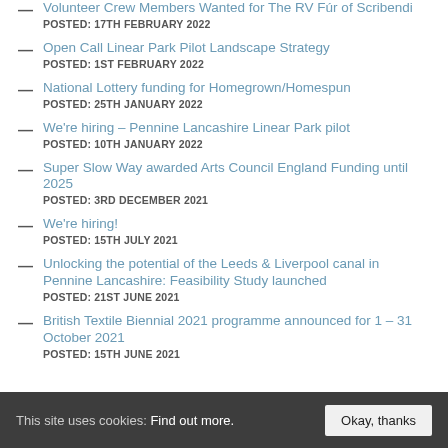Volunteer Crew Members Wanted for The RV Fúr of Scribendi
POSTED: 17TH FEBRUARY 2022
Open Call Linear Park Pilot Landscape Strategy
POSTED: 1ST FEBRUARY 2022
National Lottery funding for Homegrown/Homespun
POSTED: 25TH JANUARY 2022
We're hiring – Pennine Lancashire Linear Park pilot
POSTED: 10TH JANUARY 2022
Super Slow Way awarded Arts Council England Funding until 2025
POSTED: 3RD DECEMBER 2021
We're hiring!
POSTED: 15TH JULY 2021
Unlocking the potential of the Leeds & Liverpool canal in Pennine Lancashire: Feasibility Study launched
POSTED: 21ST JUNE 2021
British Textile Biennial 2021 programme announced for 1 – 31 October 2021
POSTED: 15TH JUNE 2021
This site uses cookies: Find out more.